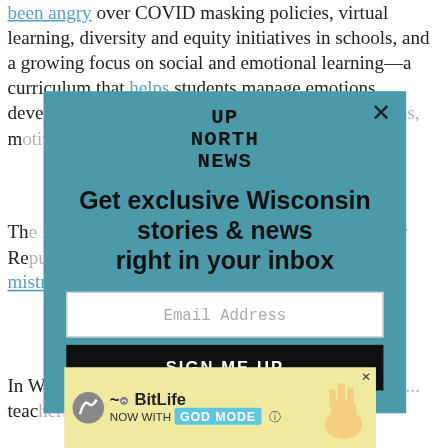been angry over COVID masking policies, virtual learning, diversity and equity initiatives in schools, and a growing focus on social and emotional learning—a curriculum that helps students manage emotions, develop good relationships, and make good decisions, motivating...
The legislation was proposed as part of Republican efforts... sewing mistrust and fear among educators.
In Wisconsin, the proposed ban would have allowed... teachers...
[Figure (screenshot): Up North News email signup modal overlay with teal background. Contains logo 'UP NORTH NEWS', headline 'Get exclusive Wisconsin stories & news right in your inbox', email address input field, and 'SIGN ME UP' button. Has X close button in top right corner.]
[Figure (screenshot): BitLife advertisement banner at the bottom with yellow background. Shows BitLife logo, 'NOW WITH GOD MODE' text in teal box, cartoon hand illustration, and a question mark circle. Has X close button.]